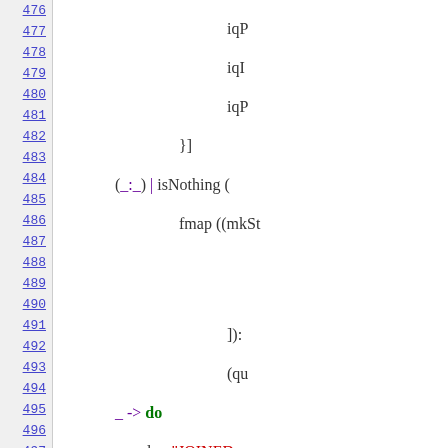[Figure (screenshot): Source code viewer showing Haskell code lines 476-497 with line numbers on the left column and code on the right. Lines include pattern matching, do-notation, log statements, and variable bindings with colors for keywords, strings, and operators.]